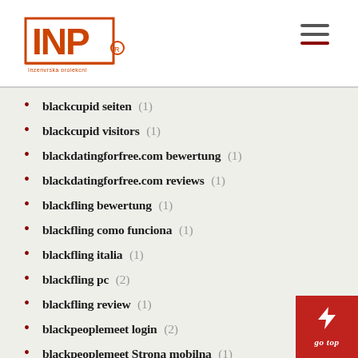INP logo and navigation
blackcupid seiten (1)
blackcupid visitors (1)
blackdatingforfree.com bewertung (1)
blackdatingforfree.com reviews (1)
blackfling bewertung (1)
blackfling como funciona (1)
blackfling italia (1)
blackfling pc (2)
blackfling review (1)
blackpeoplemeet login (2)
blackpeoplemeet Strona mobilna (1)